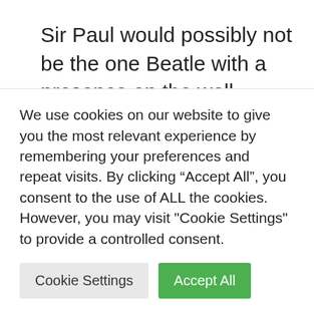Sir Paul would possibly not be the one Beatle with a presence on the well-known competition, with Sir Ringo Starr becoming a member of a number of musicians as a part of a marketing campaign to ship postcards to the high minister urging motion on local weather trade.
WaterAid's Climate Fight marketing
We use cookies on our website to give you the most relevant experience by remembering your preferences and repeat visits. By clicking “Accept All”, you consent to the use of ALL the cookies. However, you may visit "Cookie Settings" to provide a controlled consent.